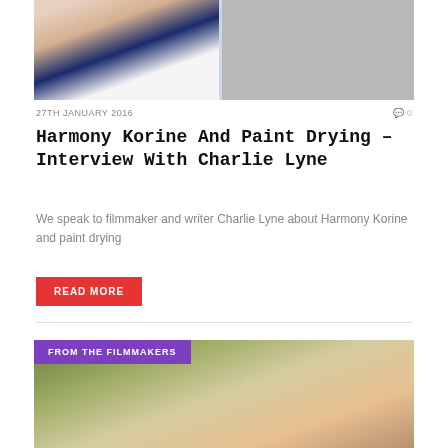[Figure (photo): Two-panel photo: left shows a man in a white jacket over a navy shirt, right shows a grey brick wall background]
27TH JANUARY 2016
0
Harmony Korine And Paint Drying – Interview With Charlie Lyne
We speak to filmmaker and writer Charlie Lyne about Harmony Korine and paint drying
READ MORE
[Figure (photo): Film still showing two people outdoors with a purple 'FROM THE FILMMAKERS' label overlay]